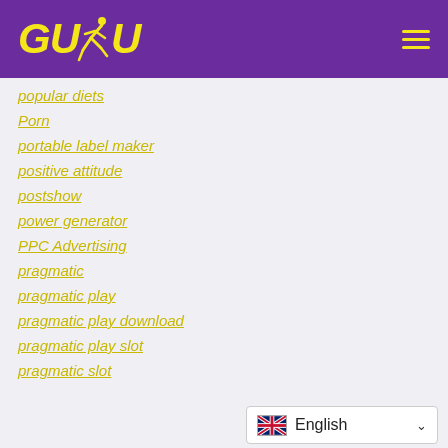GUDU (logo with runner icon and hamburger menu)
popular diets
Porn
portable label maker
positive attitude
postshow
power generator
PPC Advertising
pragmatic
pragmatic play
pragmatic play download
pragmatic play slot
pragmatic slot
English (language selector)